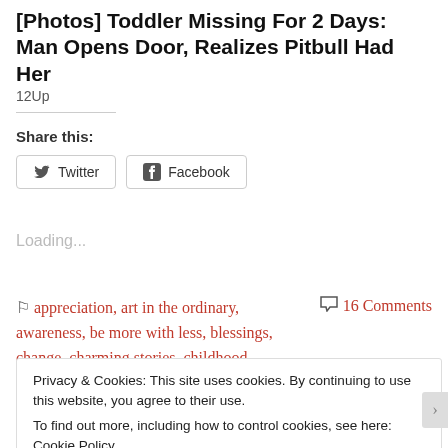[Photos] Toddler Missing For 2 Days: Man Opens Door, Realizes Pitbull Had Her
12Up
Share this:
Twitter  Facebook
Loading...
appreciation, art in the ordinary, awareness, be more with less, blessings, change, charming stories, childhood,
16 Comments
Privacy & Cookies: This site uses cookies. By continuing to use this website, you agree to their use.
To find out more, including how to control cookies, see here: Cookie Policy
Close and accept